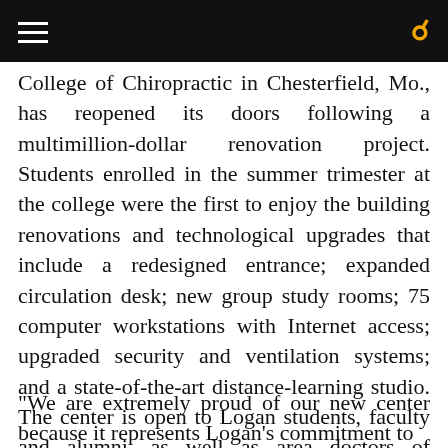[hamburger menu] [search icon]
College of Chiropractic in Chesterfield, Mo., has reopened its doors following a multimillion-dollar renovation project. Students enrolled in the summer trimester at the college were the first to enjoy the building renovations and technological upgrades that include a redesigned entrance; expanded circulation desk; new group study rooms; 75 computer workstations with Internet access; upgraded security and ventilation systems; and a state-of-the-art distance-learning studio. The center is open to Logan students, faculty and alumni, as well as area doctors of chiropractic.
"We are extremely proud of our new center because it represents Logan's commitment to